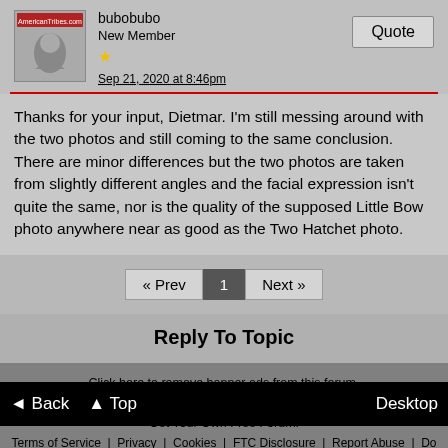bubobubo
New Member
★
Sep 21, 2020 at 8:46pm
Thanks for your input, Dietmar. I'm still messing around with the two photos and still coming to the same conclusion. There are minor differences but the two photos are taken from slightly different angles and the facial expression isn't quite the same, nor is the quality of the supposed Little Bow photo anywhere near as good as the Two Hatchet photo.
« Prev  1  Next »
Reply To Topic
Click here to remove banner ads from this forum.
This Forum Is Hosted For FREE By ProBoards
Get Your Own Free Forum!
Terms of Service · Privacy · Cookies · FTC Disclosure · Report Abuse · Do Not Sell My Personal Information
◄ Back  ▲ Top  Desktop